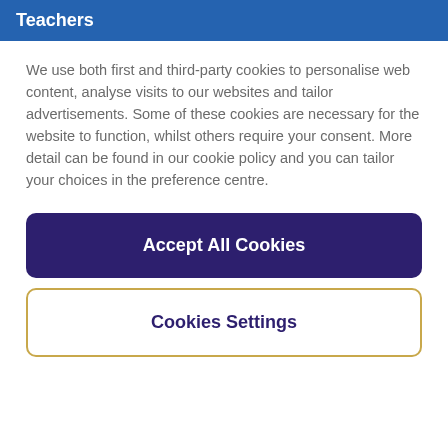Teachers
We use both first and third-party cookies to personalise web content, analyse visits to our websites and tailor advertisements. Some of these cookies are necessary for the website to function, whilst others require your consent. More detail can be found in our cookie policy and you can tailor your choices in the preference centre.
Accept All Cookies
Cookies Settings